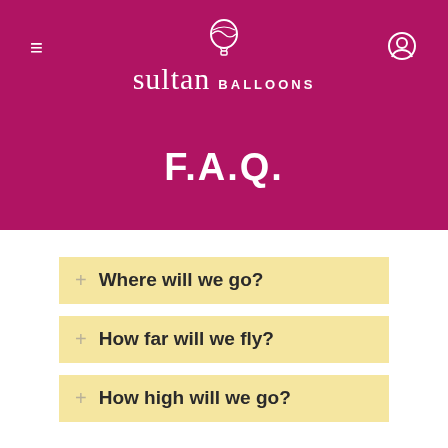[Figure (logo): Sultan Balloons logo with hot air balloon icon, text 'sultan BALLOONS' on magenta/crimson background, with hamburger menu icon on left and user profile icon on right]
F.A.Q.
Where will we go?
How far will we fly?
How high will we go?